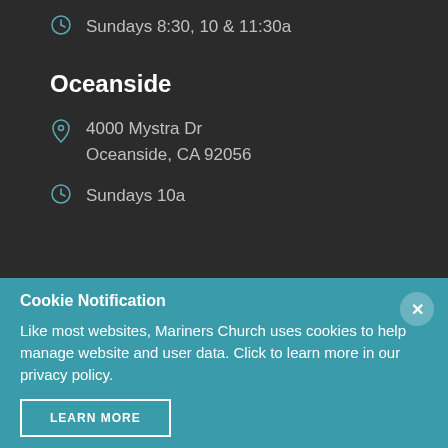Sundays 8:30, 10 & 11:30a
Oceanside
4000 Mystra Dr
Oceanside, CA 92056
Sundays 10a
Cookie Notification
Like most websites, Mariners Church uses cookies to help manage website and user data. Click to learn more in our privacy policy.
LEARN MORE